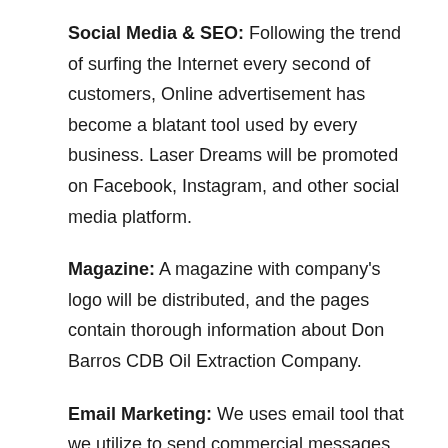Social Media & SEO: Following the trend of surfing the Internet every second of customers, Online advertisement has become a blatant tool used by every business. Laser Dreams will be promoted on Facebook, Instagram, and other social media platform.
Magazine: A magazine with company's logo will be distributed, and the pages contain thorough information about Don Barros CDB Oil Extraction Company.
Email Marketing: We uses email tool that we utilize to send commercial messages and